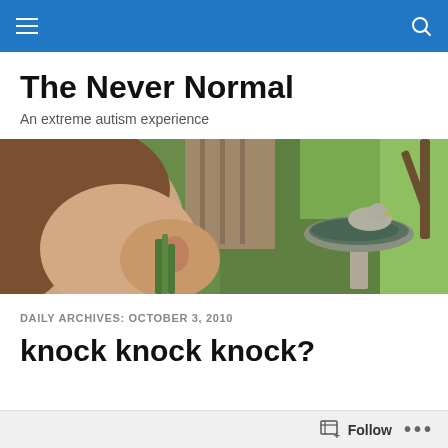Navigation bar with hamburger menu and search icon
The Never Normal
An extreme autism experience
[Figure (photo): A child leaning toward a birdbath with a duck statue in a green garden setting]
DAILY ARCHIVES: OCTOBER 3, 2010
knock knock knock?
Follow ...